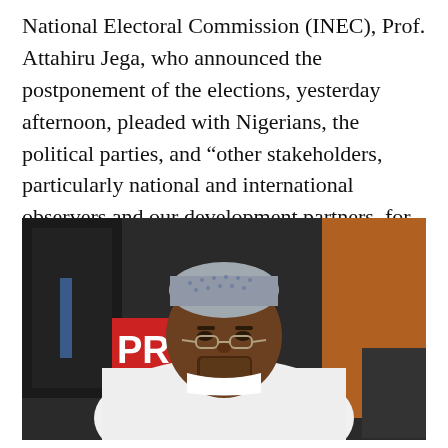National Electoral Commission (INEC), Prof. Attahiru Jega, who announced the postponement of the elections, yesterday afternoon, pleaded with Nigerians, the political parties, and “other stakeholders, particularly national and international observers and our development partners, for continued understanding”.
[Figure (photo): Photo of Prof. Attahiru Jega, a man wearing a white traditional attire and a grey/blue embroidered cap, with glasses, seated at a podium. Behind him are other people and a red sign partially reading 'PRIL'.]